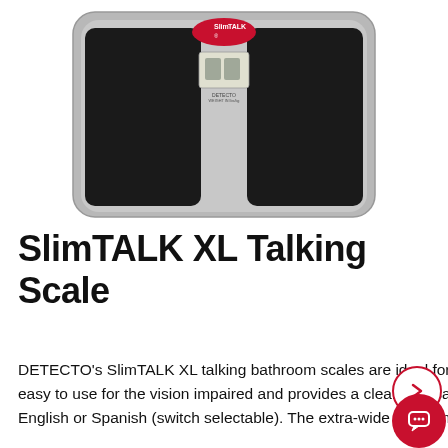[Figure (photo): Product photo of DETECTO SlimTALK XL bathroom talking scale — a flat rectangular scale with large black non-slip pads on left and right, a silver/gray frame, and a central LCD display panel showing '00' digits, with a SlimTALK logo oval badge at the top center.]
SlimTALK XL Talking Scale
DETECTO's SlimTALK XL talking bathroom scales are ideal for the elderly, obese, blind, and telemedicine use. The scale is easy to use for the vision impaired and provides a clear, pleasant voice announcement of the weight in two languages: English or Spanish (switch selectable). The extra-wide platform accommodates